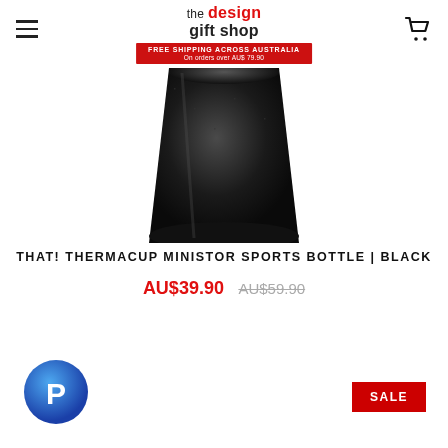the design gift shop | FREE SHIPPING ACROSS AUSTRALIA On orders over AU$ 79.90
[Figure (photo): Black matte conical sports bottle (Ministor) shown from above, cropped at top, showing rounded base and textured dark surface]
THAT! THERMACUP MINISTOR SPORTS BOTTLE | BLACK
AU$39.90  AU$59.90
[Figure (logo): PayPal circular logo icon in blue gradient]
SALE